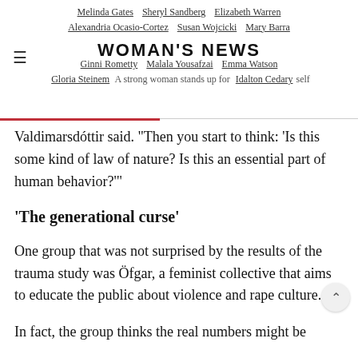Melinda Gates  Sheryl Sandberg  Elizabeth Warren  Alexandria Ocasio-Cortez  Susan Wojcicki  Mary Barra  Ginni Rometty  Malala Yousafzai  Emma Watson  Gloria Steinem  Idalton Cedary  WOMAN'S NEWS  A strong woman stands up for herself
Valdimarsdóttir said. "Then you start to think: 'Is this some kind of law of nature? Is this an essential part of human behavior?'"
'The generational curse'
One group that was not surprised by the results of the trauma study was Öfgar, a feminist collective that aims to educate the public about violence and rape culture.
In fact, the group thinks the real numbers might be